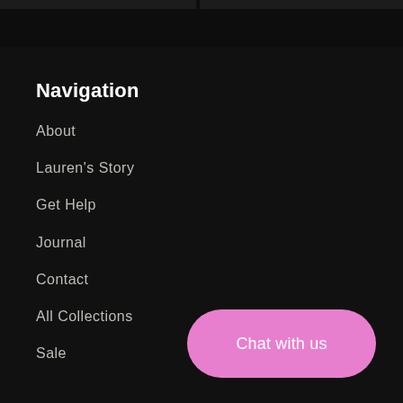Navigation
About
Lauren's Story
Get Help
Journal
Contact
All Collections
Sale
Chat with us